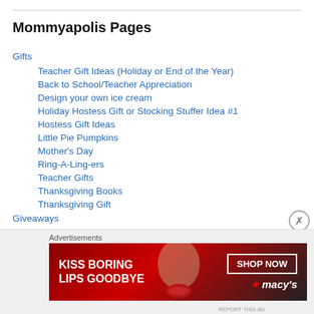Mommyapolis Pages
Gifts
Teacher Gift Ideas (Holiday or End of the Year)
Back to School/Teacher Appreciation
Design your own ice cream
Holiday Hostess Gift or Stocking Stuffer Idea #1
Hostess Gift Ideas
Little Pie Pumpkins
Mother's Day
Ring-A-Ling-ers
Teacher Gifts
Thanksgiving Books
Thanksgiving Gift
Giveaways
[Figure (infographic): Macy's advertisement banner: KISS BORING LIPS GOODBYE with SHOP NOW button and Macy's star logo, woman's face with red lips]